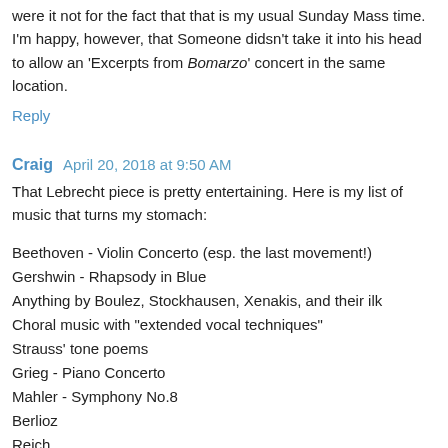were it not for the fact that that is my usual Sunday Mass time. I'm happy, however, that Someone didsn't take it into his head to allow an 'Excerpts from Bomarzo' concert in the same location.
Reply
Craig  April 20, 2018 at 9:50 AM
That Lebrecht piece is pretty entertaining. Here is my list of music that turns my stomach:
Beethoven - Violin Concerto (esp. the last movement!)
Gershwin - Rhapsody in Blue
Anything by Boulez, Stockhausen, Xenakis, and their ilk
Choral music with "extended vocal techniques"
Strauss' tone poems
Grieg - Piano Concerto
Mahler - Symphony No.8
Berlioz
Reich
Bartok